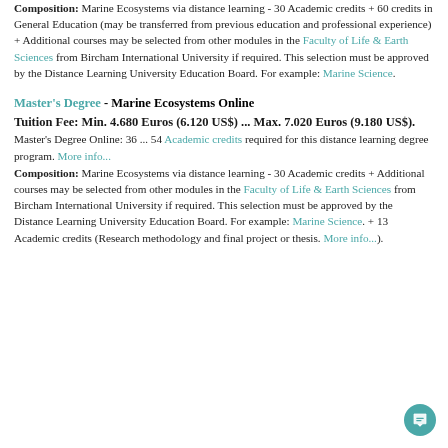Composition: Marine Ecosystems via distance learning - 30 Academic credits + 60 credits in General Education (may be transferred from previous education and professional experience) + Additional courses may be selected from other modules in the Faculty of Life & Earth Sciences from Bircham International University if required. This selection must be approved by the Distance Learning University Education Board. For example: Marine Science.
Master's Degree - Marine Ecosystems Online
Tuition Fee: Min. 4.680 Euros (6.120 US$) ... Max. 7.020 Euros (9.180 US$).
Master's Degree Online: 36 ... 54 Academic credits required for this distance learning degree program. More info...
Composition: Marine Ecosystems via distance learning - 30 Academic credits + Additional courses may be selected from other modules in the Faculty of Life & Earth Sciences from Bircham International University if required. This selection must be approved by the Distance Learning University Education Board. For example: Marine Science. + 13 Academic credits (Research methodology and final project or thesis. More info...).